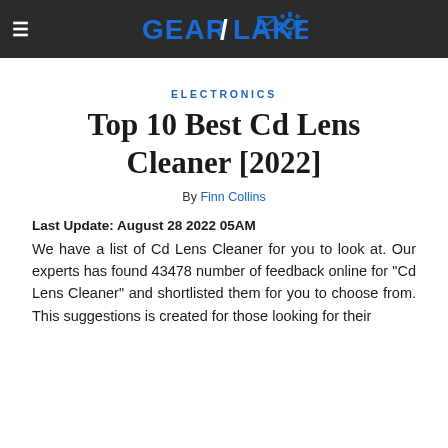GEAR LAKE
ELECTRONICS
Top 10 Best Cd Lens Cleaner [2022]
By Finn Collins
Last Update: August 28 2022 05AM
We have a list of Cd Lens Cleaner for you to look at. Our experts has found 43478 number of feedback online for "Cd Lens Cleaner" and shortlisted them for you to choose from. This suggestions is created for those looking for their